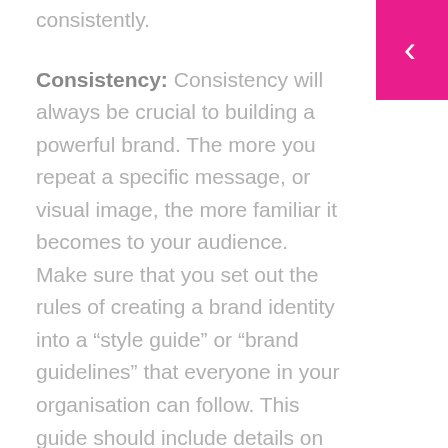consistently.
[Figure (other): Magenta/pink navigation back button with white chevron in top-right corner]
Consistency: Consistency will always be crucial to building a powerful brand. The more you repeat a specific message, or visual image, the more familiar it becomes to your audience. Make sure that you set out the rules of creating a brand identity into a “style guide” or “brand guidelines” that everyone in your organisation can follow. This guide should include details on your choice of colours, typography, images, sizing, and more.
Keep in mind, though consistency is essential to any brand, that doesn’t mean that your business should remain static throughout the years. The most powerful brands are the ones that can adapt with